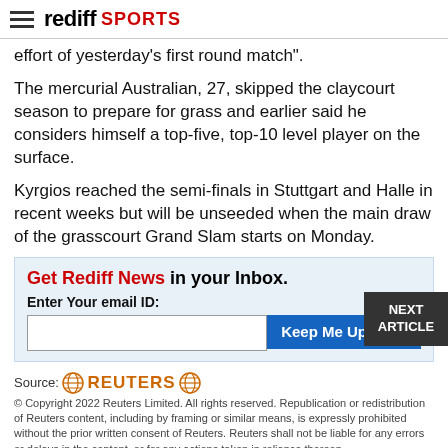rediff SPORTS
effort of yesterday's first round match".
The mercurial Australian, 27, skipped the claycourt season to prepare for grass and earlier said he considers himself a top-five, top-10 level player on the surface.
Kyrgios reached the semi-finals in Stuttgart and Halle in recent weeks but will be unseeded when the main draw of the grasscourt Grand Slam starts on Monday.
Get Rediff News in your Inbox. Enter Your email ID:
NEXT ARTICLE
Source: REUTERS
© Copyright 2022 Reuters Limited. All rights reserved. Republication or redistribution of Reuters content, including by framing or similar means, is expressly prohibited without the prior written consent of Reuters. Reuters shall not be liable for any errors or delays in the content, or for any actions taken in reliance thereon.
[Figure (other): Social media sharing icons: email, WhatsApp, Twitter, Facebook, Reddit, pencil/edit]